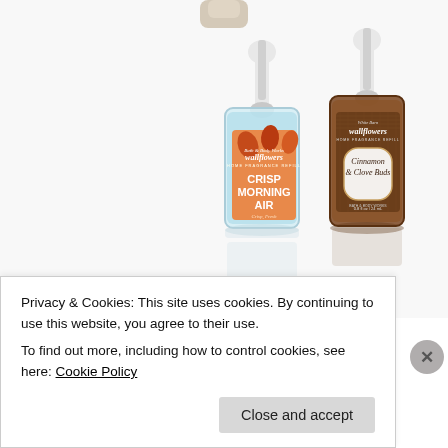[Figure (photo): Two Bath & Body Works Wallflowers home fragrance refill bottles on a white background. Left bottle: clear glass with blue liquid and autumn leaf label reading 'Crisp Morning Air'. Right bottle: brown amber liquid with brown burlap-textured label reading 'Cinnamon & Clove Buds'. Both have white dropper-style caps. A third partially visible bottle cap appears at the very top center.]
Privacy & Cookies: This site uses cookies. By continuing to use this website, you agree to their use.
To find out more, including how to control cookies, see here: Cookie Policy